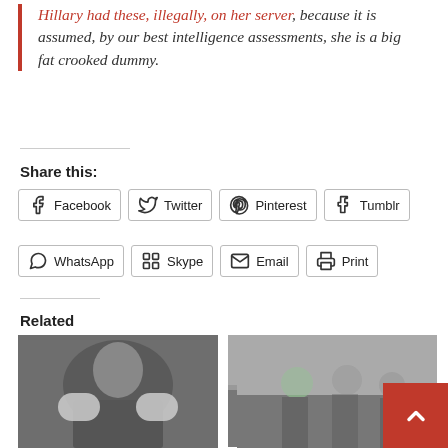Hillary had these, illegally, on her server, because it is assumed, by our best intelligence assessments, she is a big fat crooked dummy.
Share this:
Facebook | Twitter | Pinterest | Tumblr | WhatsApp | Skype | Email | Print
Related
[Figure (photo): Boxing match photo - woman in boxing gear]
Spy Agencies Reveal State Entity Who Most Influenced Trump's Win
January 3, 2017
[Figure (photo): Black and white historical photo of group of people outdoors]
“Putin dropped me repeatedly at birth,” Hacked DNC Emails with “Axe”